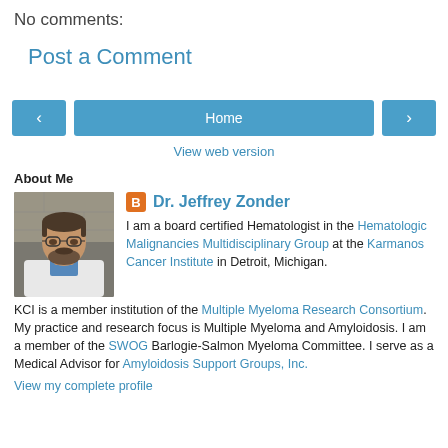No comments:
Post a Comment
[Figure (other): Navigation buttons: left arrow, Home, right arrow, and View web version link]
About Me
[Figure (photo): Photo of Dr. Jeffrey Zonder, a man with glasses and a beard wearing a white coat]
Dr. Jeffrey Zonder
I am a board certified Hematologist in the Hematologic Malignancies Multidisciplinary Group at the Karmanos Cancer Institute in Detroit, Michigan. KCI is a member institution of the Multiple Myeloma Research Consortium. My practice and research focus is Multiple Myeloma and Amyloidosis. I am a member of the SWOG Barlogie-Salmon Myeloma Committee. I serve as a Medical Advisor for Amyloidosis Support Groups, Inc.
View my complete profile